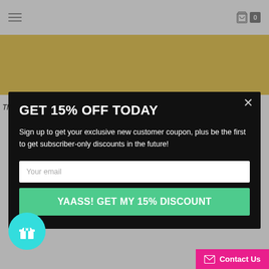Navigation header with hamburger menu and cart icon showing 0
[Figure (screenshot): Gold/yellow banner strip below header]
The... (background text partially visible behind modal)
GET 15% OFF TODAY
Sign up to get your exclusive new customer coupon, plus be the first to get subscriber-only discounts in the future!
Your email
YAASS! GET MY 15% DISCOUNT
[Figure (illustration): Teal circle with gift box icon]
Contact Us